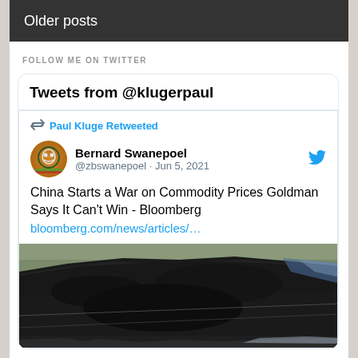Older posts
FOLLOW ME ON TWITTER
Tweets from @klugerpaul
Paul Kluge Retweeted
Bernard Swanepoel @zbswanepoel · Jun 5, 2021
China Starts a War on Commodity Prices Goldman Says It Can't Win - Bloomberg bloomberg.com/news/articles/…
[Figure (photo): Photo of a large pile of black coal with some snow/blue material visible in the background and dried vegetation]